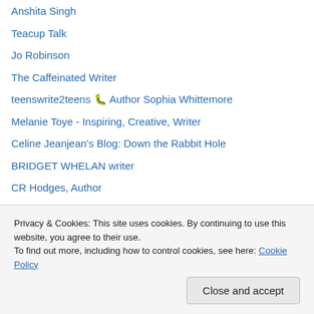Anshita Singh
Teacup Talk
Jo Robinson
The Caffeinated Writer
teenswrite2teens 🐛 Author Sophia Whittemore
Melanie Toye - Inspiring, Creative, Writer
Celine Jeanjean's Blog: Down the Rabbit Hole
BRIDGET WHELAN writer
CR Hodges, Author
The 960 Writers
Universe Sings
The Never Chronicles
Daren Valis
A.D. Martin
Laura's Word Press
Privacy & Cookies: This site uses cookies. By continuing to use this website, you agree to their use.
To find out more, including how to control cookies, see here: Cookie Policy